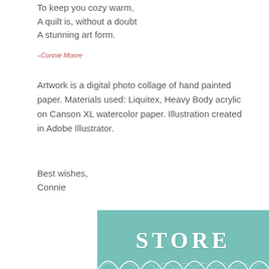To keep you cozy warm,
A quilt is, without a doubt
A stunning art form.
–Connie Moore
Artwork is a digital photo collage of hand painted paper. Materials used: Liquitex, Heavy Body acrylic on Canson XL watercolor paper. Illustration created in Adobe Illustrator.
Best wishes,
Connie
[Figure (photo): A teal/mint green store sign with the word STORE in large white serif letters, with decorative arch/scallop shapes along the bottom edge in the same teal color with white outline accents.]